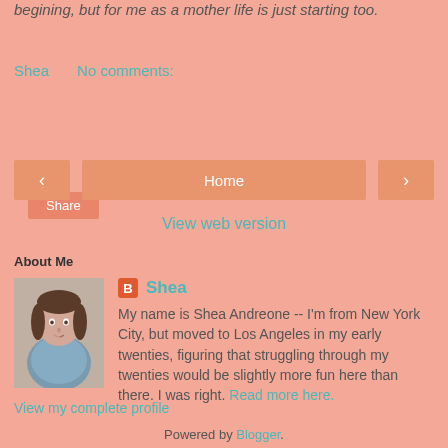begining, but for me as a mother life is just starting too.
Shea   No comments:
Share
< Home >
View web version
About Me
Shea
My name is Shea Andreone -- I'm from New York City, but moved to Los Angeles in my early twenties, figuring that struggling through my twenties would be slightly more fun here than there. I was right. Read more here.
View my complete profile
Powered by Blogger.